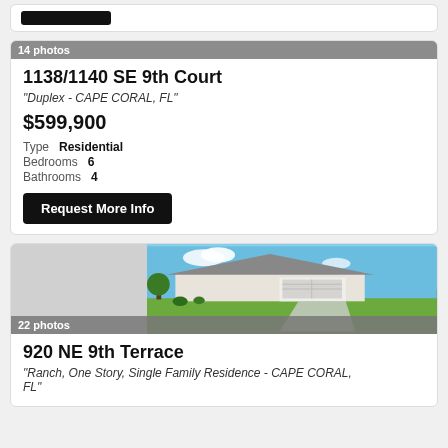[Figure (screenshot): Black button stub at top of page]
14 photos
1138/1140 SE 9th Court
"Duplex - CAPE CORAL, FL"
$599,900
Type  Residential
Bedrooms  6
Bathrooms  4
Request More Info
[Figure (photo): Exterior photo of a ranch-style single family home with white garage and green lawn under blue sky]
22 photos
920 NE 9th Terrace
"Ranch, One Story, Single Family Residence - CAPE CORAL, FL"